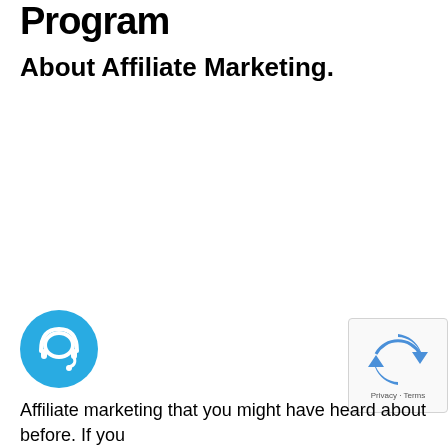Program
About Affiliate Marketing.
[Figure (illustration): Blue circular chat/support icon with headset silhouette]
[Figure (logo): Google reCAPTCHA badge with Privacy and Terms text]
Affiliate marketing that you might have heard about before. If you